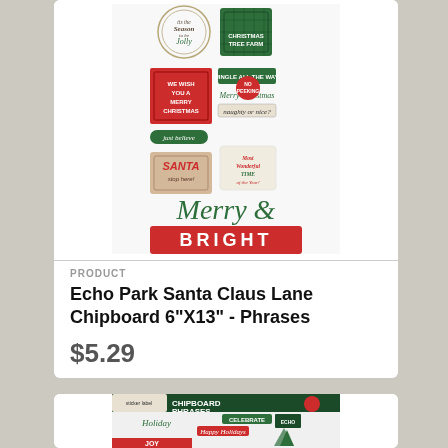[Figure (illustration): Echo Park Santa Claus Lane Chipboard 6x13 Phrases product sheet showing holiday chipboard stickers including 'Season to be Jolly', 'Christmas Tree Farm', 'We Wish You A Merry Christmas', 'Jingle All The Way', 'Merry Christmas', 'naughty or nice?', 'just believe', 'No Peeking', 'Santa stop here!', 'Most Wonderful TIME of the Year!', and large 'Merry & BRIGHT' at the bottom.]
PRODUCT
Echo Park Santa Claus Lane Chipboard 6"X13" - Phrases
$5.29
[Figure (illustration): Partial view of a second chipboard phrases product with dark green header bar reading 'CHIPBOARD PHRASES', holiday stickers including 'Holiday', 'CELEBRATE', 'Happy Holidays', Christmas trees, Echo Park branding, and a red 'JOY' bar at the bottom.]